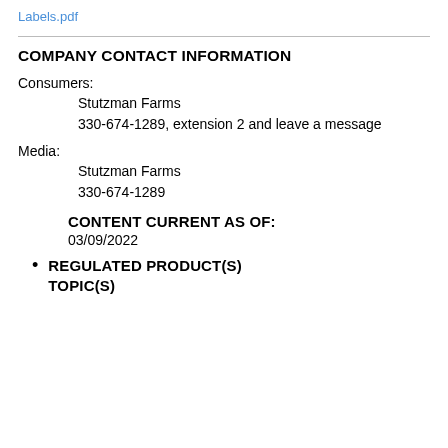Labels.pdf
COMPANY CONTACT INFORMATION
Consumers:
    Stutzman Farms
    330-674-1289, extension 2 and leave a message
Media:
    Stutzman Farms
    330-674-1289
CONTENT CURRENT AS OF:
03/09/2022
REGULATED PRODUCT(S) TOPIC(S)